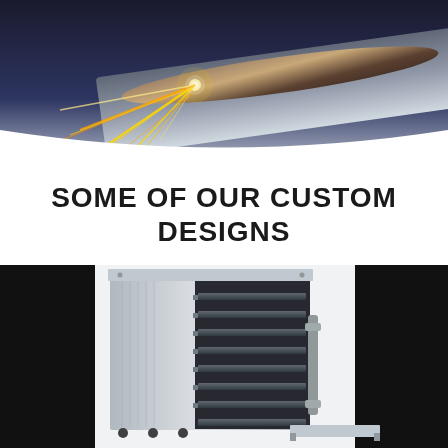[Figure (photo): Close-up of metal grinding/welding with bright sparks flying, dark industrial background with metallic surface]
SOME OF OUR CUSTOM DESIGNS
[Figure (photo): Stainless steel industrial equipment unit (multi-shelf oven or rack unit) with open door showing multiple horizontal shelves/trays, on black background]